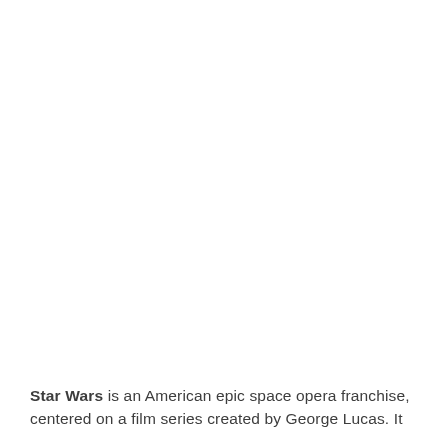Star Wars is an American epic space opera franchise, centered on a film series created by George Lucas. It